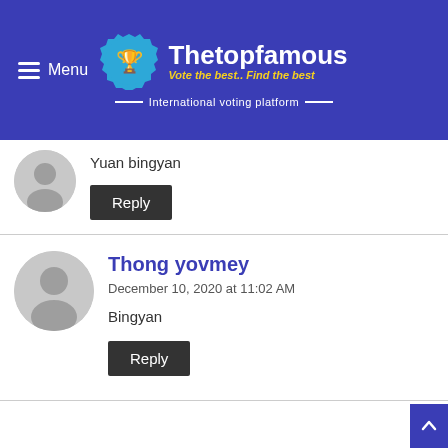Menu | Thetopfamous — Vote the best.. Find the best — International voting platform
Yuan bingyan
Reply
Thong yovmey
December 10, 2020 at 11:02 AM
Bingyan
Reply
Facebook | Twitter | WhatsApp | Pinterest | More